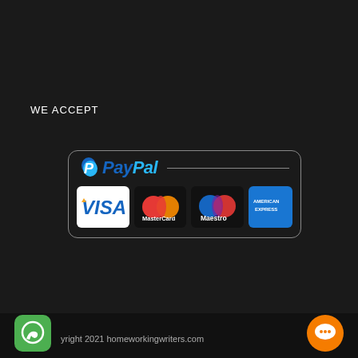WE ACCEPT
[Figure (logo): PayPal payment acceptance box with Visa, MasterCard, Maestro, and American Express logos on dark background]
yright 2021 homeworkingwriters.com